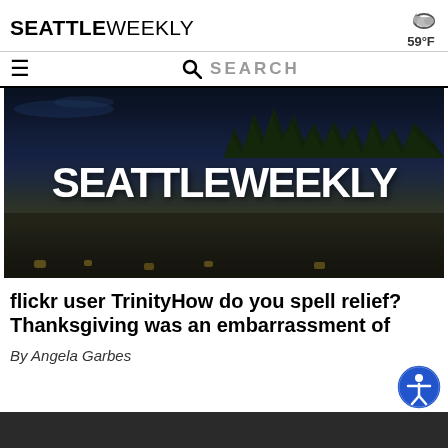SEATTLE WEEKLY — 59°F
SEARCH
[Figure (photo): Dark aerial photo of Seattle cityscape at dusk with trees in background, overlaid with large white bold text reading SEATTLEWEEKLY]
flickr user TrinityHow do you spell relief? Thanksgiving was an embarrassment of
By Angela Garbes